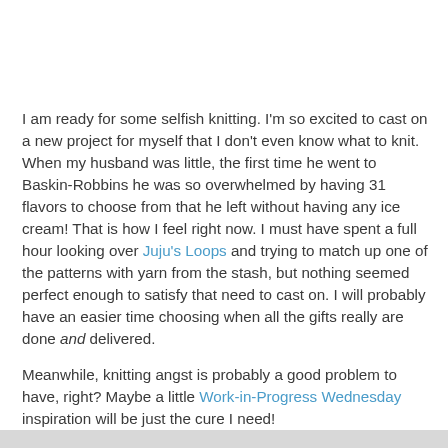I am ready for some selfish knitting.  I'm so excited to cast on a new project for myself that I don't even know what to knit.  When my husband was little, the first time he went to Baskin-Robbins he was so overwhelmed by having 31 flavors to choose from that he left without having any ice cream!  That is how I feel right now.  I must have spent a full hour looking over Juju's Loops and trying to match up one of the patterns with yarn from the stash, but nothing seemed perfect enough to satisfy that need to cast on.  I will probably have an easier time choosing when all the gifts really are done and delivered.
Meanwhile, knitting angst is probably a good problem to have, right?  Maybe a little Work-in-Progress Wednesday inspiration will be just the cure I need!